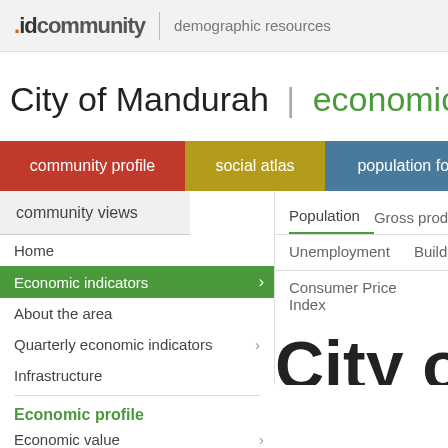.idcommunity | demographic resources
City of Mandurah | economic profile
community profile  social atlas  population forecast  e
community views
Home
Economic indicators
About the area
Quarterly economic indicators
Infrastructure
Population  Gross product
Unemployment  Building app
Consumer Price Index
Economic profile
Economic value
City of Ma